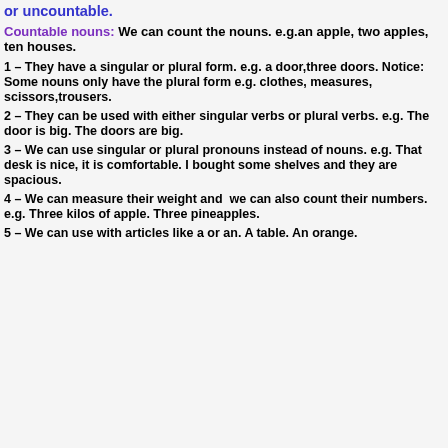or uncountable.
Countable nouns: We can count the nouns. e.g.an apple, two apples, ten houses.
1 – They have a singular or plural form. e.g. a door,three doors. Notice: Some nouns only have the plural form e.g. clothes, measures, scissors,trousers.
2 – They can be used with either singular verbs or plural verbs. e.g. The door is big. The doors are big.
3 – We can use singular or plural pronouns instead of nouns. e.g. That desk is nice, it is comfortable. I bought some shelves and they are spacious.
4 – We can measure their weight and we can also count their numbers. e.g. Three kilos of apple. Three pineapples.
5 – We can use with articles like a or an. A table. An orange.